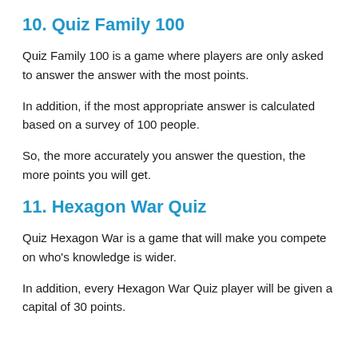10. Quiz Family 100
Quiz Family 100 is a game where players are only asked to answer the answer with the most points.
In addition, if the most appropriate answer is calculated based on a survey of 100 people.
So, the more accurately you answer the question, the more points you will get.
11. Hexagon War Quiz
Quiz Hexagon War is a game that will make you compete on who's knowledge is wider.
In addition, every Hexagon War Quiz player will be given a capital of 30 points.